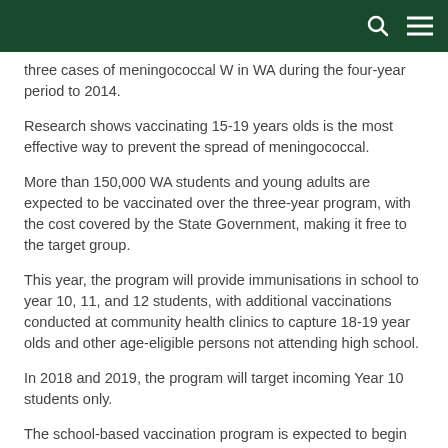three cases of meningococcal W in WA during the four-year period to 2014.
Research shows vaccinating 15-19 years olds is the most effective way to prevent the spread of meningococcal.
More than 150,000 WA students and young adults are expected to be vaccinated over the three-year program, with the cost covered by the State Government, making it free to the target group.
This year, the program will provide immunisations in school to year 10, 11, and 12 students, with additional vaccinations conducted at community health clinics to capture 18-19 year olds and other age-eligible persons not attending high school.
In 2018 and 2019, the program will target incoming Year 10 students only.
The school-based vaccination program is expected to begin when sufficient vaccine supplies have been delivered, starting in school...